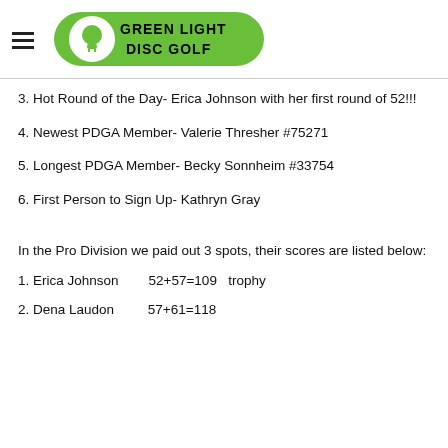[Figure (logo): Green Light Disc Golf logo - green oval with lightbulb icon and text GREEN LIGHT DISC GOLF]
3. Hot Round of the Day- Erica Johnson with her first round of 52!!!
4. Newest PDGA Member- Valerie Thresher #75271
5. Longest PDGA Member- Becky Sonnheim #33754
6. First Person to Sign Up- Kathryn Gray
In the Pro Division we paid out 3 spots, their scores are listed below:
1. Erica Johnson        52+57=109  trophy
2. Dena Laudon          57+61=118